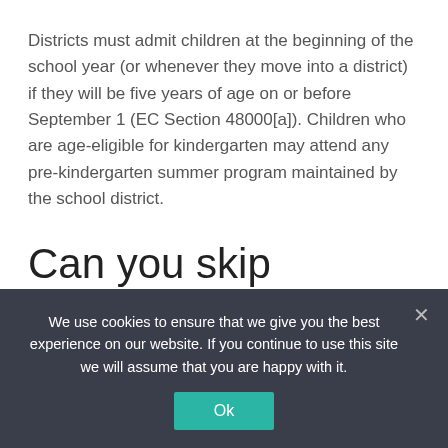Districts must admit children at the beginning of the school year (or whenever they move into a district) if they will be five years of age on or before September 1 (EC Section 48000[a]). Children who are age-eligible for kindergarten may attend any pre-kindergarten summer program maintained by the school district.
Can you skip kindergarten in California?
We use cookies to ensure that we give you the best experience on our website. If you continue to use this site we will assume that you are happy with it.